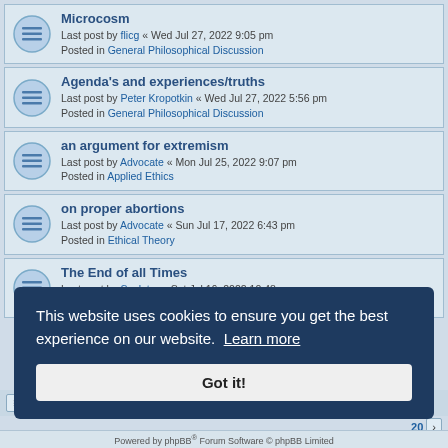Microcosm — Last post by flicg « Wed Jul 27, 2022 9:05 pm — Posted in General Philosophical Discussion
Agenda's and experiences/truths — Last post by Peter Kropotkin « Wed Jul 27, 2022 5:56 pm — Posted in General Philosophical Discussion
an argument for extremism — Last post by Advocate « Mon Jul 25, 2022 9:07 pm — Posted in Applied Ethics
on proper abortions — Last post by Advocate « Sun Jul 17, 2022 6:43 pm — Posted in Ethical Theory
The End of all Times — Last post by Sculptor « Sat Jul 16, 2022 10:48 pm — Posted in Book Club
This website uses cookies to ensure you get the best experience on our website. Learn more
Got it!
Powered by phpBB® Forum Software © phpBB Limited